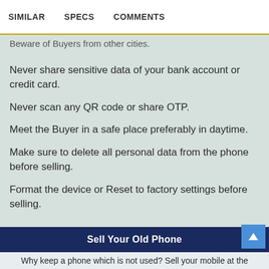SIMILAR   SPECS   COMMENTS
Beware of Buyers from other cities.
Never share sensitive data of your bank account or credit card.
Never scan any QR code or share OTP.
Meet the Buyer in a safe place preferably in daytime.
Make sure to delete all personal data from the phone before selling.
Format the device or Reset to factory settings before selling.
Sell Your Old Phone
Why keep a phone which is not used? Sell your mobile at the